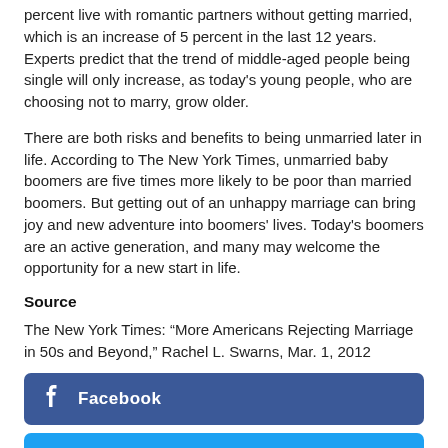percent live with romantic partners without getting married, which is an increase of 5 percent in the last 12 years. Experts predict that the trend of middle-aged people being single will only increase, as today's young people, who are choosing not to marry, grow older.
There are both risks and benefits to being unmarried later in life. According to The New York Times, unmarried baby boomers are five times more likely to be poor than married boomers. But getting out of an unhappy marriage can bring joy and new adventure into boomers' lives. Today's boomers are an active generation, and many may welcome the opportunity for a new start in life.
Source
The New York Times: “More Americans Rejecting Marriage in 50s and Beyond,” Rachel L. Swarns, Mar. 1, 2012
[Figure (other): Facebook share button (blue rounded rectangle with Facebook icon and label)]
[Figure (other): Twitter share button (light blue rounded rectangle with Twitter bird icon and label)]
[Figure (other): Partial third social share button (light blue, partially visible at bottom)]